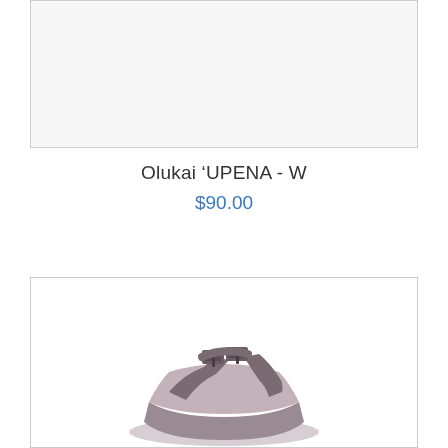[Figure (photo): Top portion of a product image card with light gray background, partially visible at the top of the page]
Olukai 'UPENA - W
$90.00
[Figure (photo): Product photo of an Olukai 'UPENA sandal in taupe/mauve color with buckle straps, shown from above against white background]